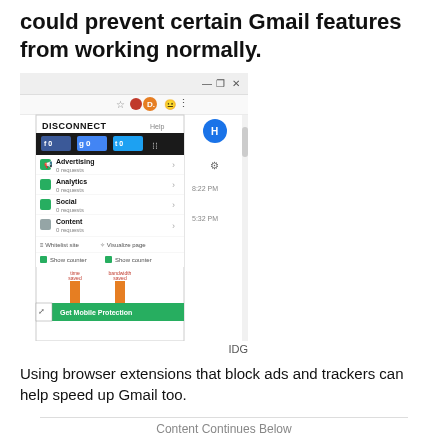could prevent certain Gmail features from working normally.
[Figure (screenshot): Screenshot of browser with Disconnect extension popup showing Advertising, Analytics, Social, Content categories each with 0 requests, and a 'Get Mobile Protection' button at the bottom. Gmail inbox visible in background.]
IDG
Using browser extensions that block ads and trackers can help speed up Gmail too.
Content Continues Below